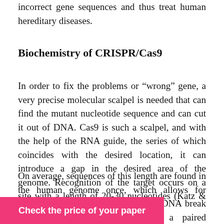CRISPR/Cas systems make it possible to correct incorrect gene sequences and thus treat human hereditary diseases.
Biochemistry of CRISPR/Cas9
In order to fix the problems or “wrong” gene, a very precise molecular scalpel is needed that can find the mutant nucleotide sequence and can cut it out of DNA. Cas9 is such a scalpel, and with the help of the RNA guide, the series of which coincides with the desired location, it can introduce a gap in the desired area of the genome. Recognition of the target occurs on a site with a length of 20-30 nucleotides (Katz & Pitts, 2017).
On average, sequences of this length are found in the human genome once, which allows for accuracy. A cell will not die from a DNA break since it will be repaired from a paired chromosome of DNA.
Check the price of your paper